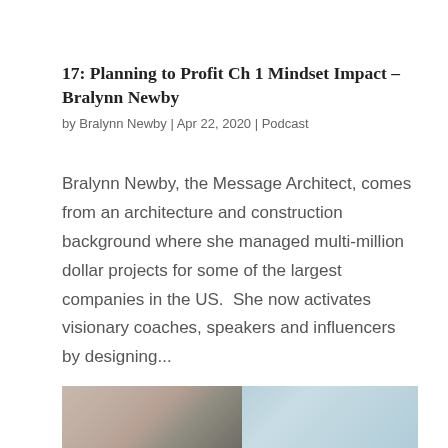17: Planning to Profit Ch 1 Mindset Impact – Bralynn Newby
by Bralynn Newby | Apr 22, 2020 | Podcast
Bralynn Newby, the Message Architect, comes from an architecture and construction background where she managed multi-million dollar projects for some of the largest companies in the US.  She now activates visionary coaches, speakers and influencers by designing...
[Figure (photo): Partial photo strip showing a person and a teal/blue background, cropped at the bottom of the page]